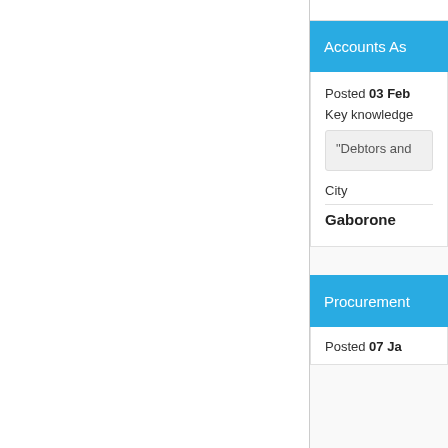Accounts As...
Posted 03 Feb
Key knowledge
"Debtors and...
City
Gaborone
Procurement...
Posted 07 Jan...